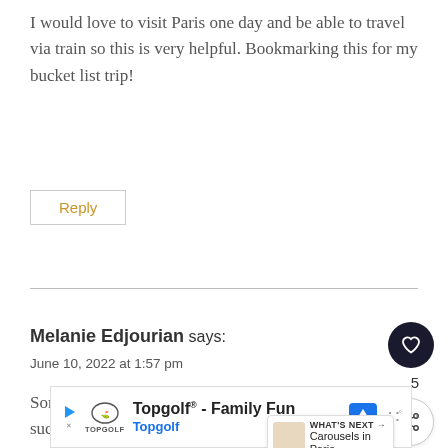I would love to visit Paris one day and be able to travel via train so this is very helpful. Bookmarking this for my bucket list trip!
Reply
Melanie Edjourian says:
June 10, 2022 at 1:57 pm
Some of these train stations have such stunning designs. It must be interesting to see the differences.
[Figure (other): What's Next widget showing 'Carousels in Paris' with thumbnail image]
[Figure (other): Advertisement banner for Topgolf - Family Fun, Topgolf, with logo and navigation icons]